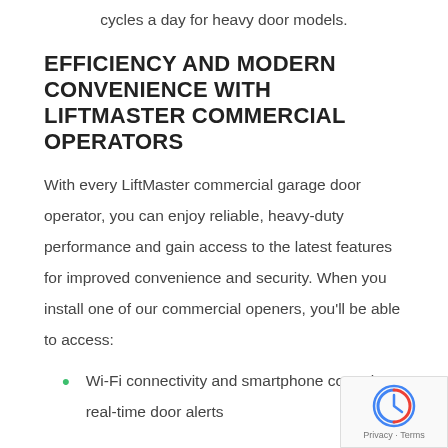cycles a day for heavy door models.
EFFICIENCY AND MODERN CONVENIENCE WITH LIFTMASTER COMMERCIAL OPERATORS
With every LiftMaster commercial garage door operator, you can enjoy reliable, heavy-duty performance and gain access to the latest features for improved convenience and security. When you install one of our commercial openers, you'll be able to access:
Wi-Fi connectivity and smartphone control real-time door alerts